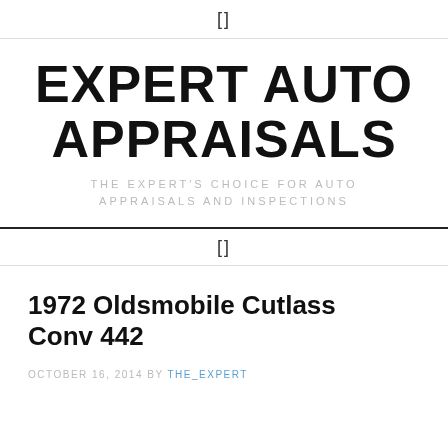[]
EXPERT AUTO APPRAISALS
THE EXPERT'S CHOICE FOR AUTO APPRAISALS AND INSPECTIONS
[]
1972 Oldsmobile Cutlass Conv 442
OCTOBER 16, 2014 BY THE_EXPERT